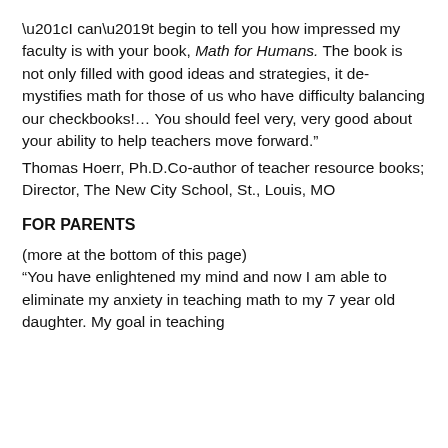“I can’t begin to tell you how impressed my faculty is with your book, Math for Humans. The book is not only filled with good ideas and strategies, it de-mystifies math for those of us who have difficulty balancing our checkbooks!… You should feel very, very good about your ability to help teachers move forward.”
Thomas Hoerr, Ph.D.Co-author of teacher resource books; Director, The New City School, St., Louis, MO
FOR PARENTS
(more at the bottom of this page)
“You have enlightened my mind and now I am able to eliminate my anxiety in teaching math to my 7 year old daughter. My goal in teaching